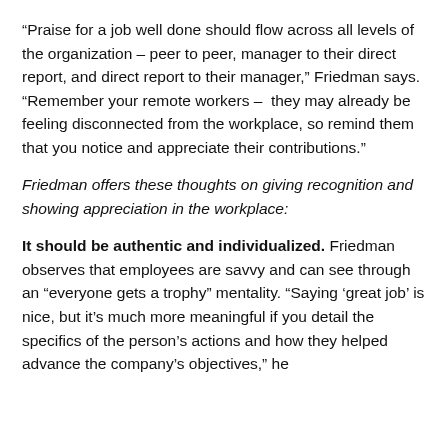“Praise for a job well done should flow across all levels of the organization – peer to peer, manager to their direct report, and direct report to their manager,” Friedman says. “Remember your remote workers – they may already be feeling disconnected from the workplace, so remind them that you notice and appreciate their contributions.”
Friedman offers these thoughts on giving recognition and showing appreciation in the workplace:
It should be authentic and individualized. Friedman observes that employees are savvy and can see through an “everyone gets a trophy” mentality. “Saying ‘great job’ is nice, but it’s much more meaningful if you detail the specifics of the person’s actions and how they helped advance the company’s objectives,” he